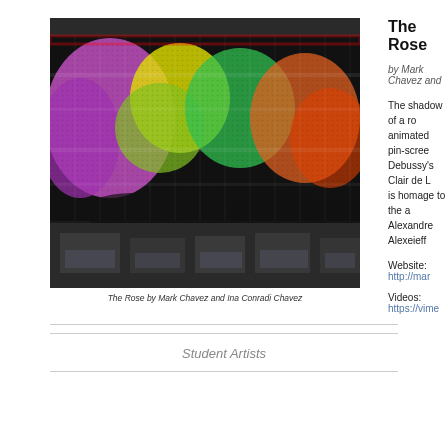[Figure (photo): Photo of 'The Rose' large LED/pin-screen art installation by Mark Chavez and Ina Conradi Chavez, showing colorful geometric and floral shapes displayed on a wide illuminated wall panel in a dark venue.]
The Rose by Mark Chavez and Ina Conradi Chavez
The Rose
by Mark Chavez and
The shadow of a ro animated pin-scree Debussy's Clair de L is homage to the a Alexandre Alexeieff
Website: http://mar
Videos: https://vime
Student Artists